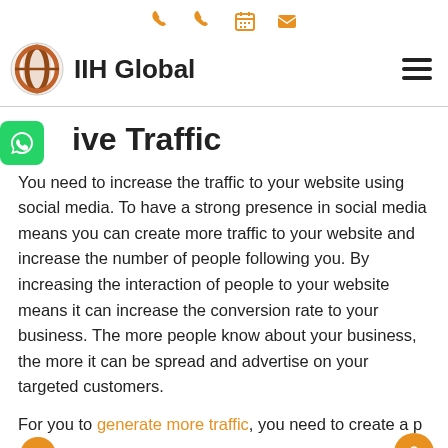IIH Global
ive Traffic
You need to increase the traffic to your website using social media. To have a strong presence in social media means you can create more traffic to your website and increase the number of people following you. By increasing the interaction of people to your website means it can increase the conversion rate to your business. The more people know about your business, the more it can be spread and advertise on your targeted customers.
For you to generate more traffic, you need to create a p...